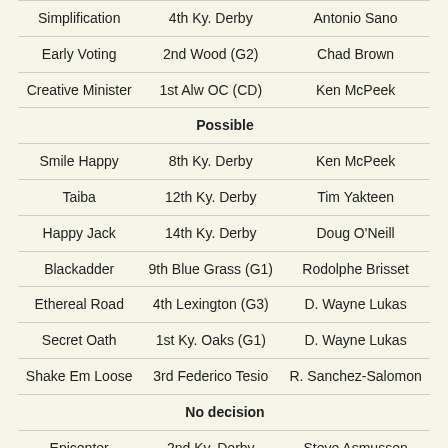| Simplification | 4th Ky. Derby | Antonio Sano |
| Early Voting | 2nd Wood (G2) | Chad Brown |
| Creative Minister | 1st Alw OC (CD) | Ken McPeek |
| Possible |  |  |
| Smile Happy | 8th Ky. Derby | Ken McPeek |
| Taiba | 12th Ky. Derby | Tim Yakteen |
| Happy Jack | 14th Ky. Derby | Doug O'Neill |
| Blackadder | 9th Blue Grass (G1) | Rodolphe Brisset |
| Ethereal Road | 4th Lexington (G3) | D. Wayne Lukas |
| Secret Oath | 1st Ky. Oaks (G1) | D. Wayne Lukas |
| Shake Em Loose | 3rd Federico Tesio | R. Sanchez-Salomon |
| No decision |  |  |
| Epicenter | 2nd Ky. Derby | Steve Asmussen |
| Zandon | 3rd Ky. Derby | Chad Brown |